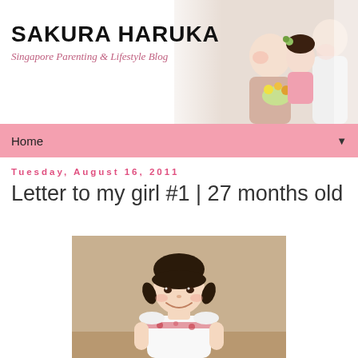[Figure (photo): Sakura Haruka blog header banner with site title, subtitle, and family photo on the right showing parents kissing a young girl holding flowers]
Home ▼
Tuesday, August 16, 2011
Letter to my girl #1 | 27 months old
[Figure (photo): Young Asian girl smiling, wearing a white and red dress, standing against a tan/beige wall with dark hair in pigtails]